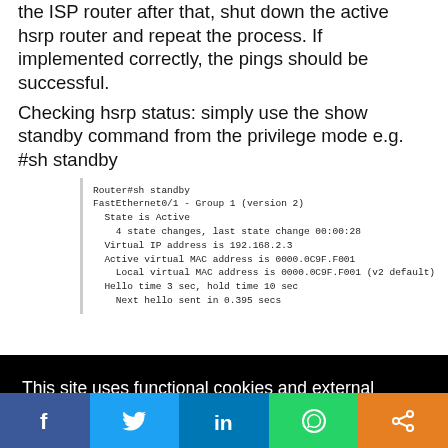the ISP router after that, shut down the active hsrp router and repeat the process. If implemented correctly, the pings should be successful.
Checking hsrp status: simply use the show standby command from the privilege mode e.g. #sh standby
[Figure (screenshot): Terminal output showing 'Router#sh standby', FastEthernet0/1 – Group 1 (version 2), State is Active, 4 state changes last state change 00:00:28, Virtual IP address is 192.168.2.3, Active virtual MAC address is 0000.0C9F.F001, Local virtual MAC address is 0000.0C9F.F001 (v2 default), Hello time 3 sec, hold time 10 sec, Next hello sent in 0.395 secs]
This site uses functional cookies and external scripts to improve your experience.
My settings
Accept